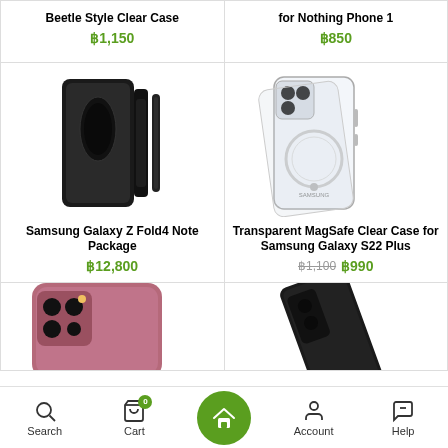Beetle Style Clear Case
฿1,150
for Nothing Phone 1
฿850
[Figure (photo): Samsung Galaxy Z Fold4 Note Package - black folding phone case with pen slot and accessories]
Samsung Galaxy Z Fold4 Note Package
฿12,800
[Figure (photo): Transparent MagSafe Clear Case for Samsung Galaxy S22 Plus - clear case with MagSafe ring]
Transparent MagSafe Clear Case for Samsung Galaxy S22 Plus
฿1,100  ฿990
[Figure (photo): Partial view of a pink/rose colored Samsung Galaxy smartphone showing camera module]
[Figure (photo): Partial view of a dark colored phone case product]